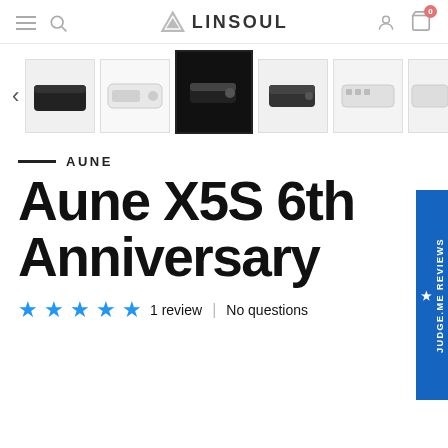LINSOUL
[Figure (screenshot): Product thumbnail gallery showing 6 images of the Aune X5S 6th Anniversary device from various angles. The third thumbnail (dark/black image) is selected/highlighted.]
AUNE
Aune X5S 6th Anniversary
★★★★★ 1 review | No questions